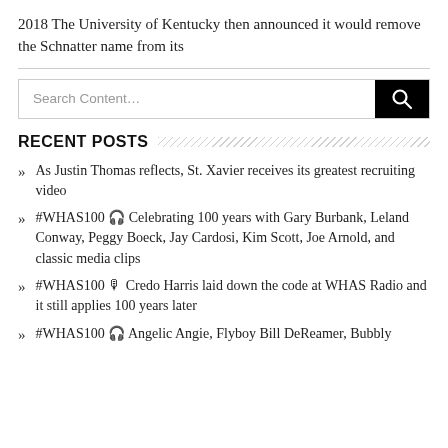2018 The University of Kentucky then announced it would remove the Schnatter name from its
Search Content...
RECENT POSTS
As Justin Thomas reflects, St. Xavier receives its greatest recruiting video
#WHAS100 🎧 Celebrating 100 years with Gary Burbank, Leland Conway, Peggy Boeck, Jay Cardosi, Kim Scott, Joe Arnold, and classic media clips
#WHAS100 🎙 Credo Harris laid down the code at WHAS Radio and it still applies 100 years later
#WHAS100 🎧 Angelic Angie, Flyboy Bill DeReamer, Bubbly